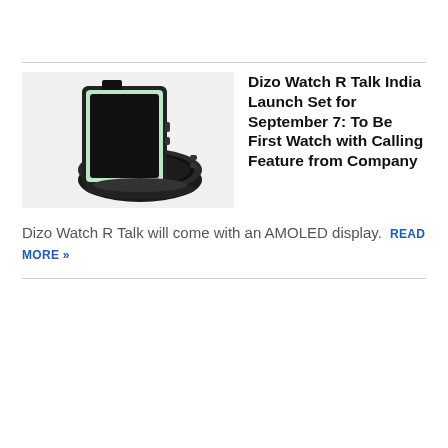[Figure (photo): Two smartwatches displayed together — one square mint/green colored smartwatch standing upright and a round black smartwatch lying flat, against a white background]
Dizo Watch R Talk India Launch Set for September 7: To Be First Watch with Calling Feature from Company
Dizo Watch R Talk will come with an AMOLED display. READ MORE »